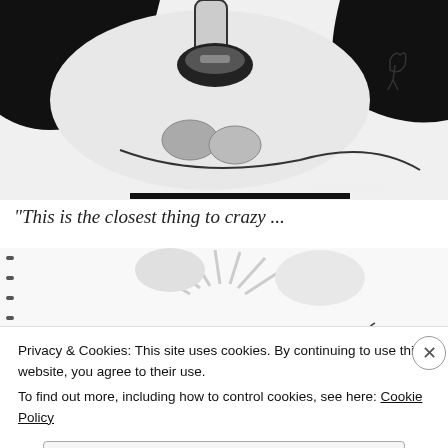[Figure (illustration): Black and white abstract/surreal pen drawing showing a face-like form with bold shapes, two rounded stones, and a signature 'Birgitta Rodenius' in the lower right corner.]
“This is the closest thing to crazy ...
[Figure (illustration): Black and white sketch from a spiral-bound notebook showing a figure lying down with radiating lines suggesting sunlight or energy, rendered in pencil or ink.]
Privacy & Cookies: This site uses cookies. By continuing to use this website, you agree to their use.
To find out more, including how to control cookies, see here: Cookie Policy
Close and accept